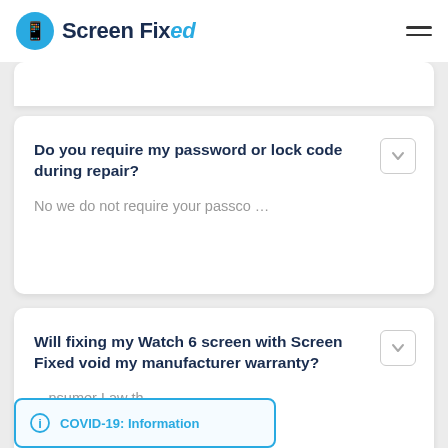Screen Fixed
Do you require my password or lock code during repair?
No we do not require your passco …
Will fixing my Watch 6 screen with Screen Fixed void my manufacturer warranty?
…nsumer Law th …
COVID-19: Information